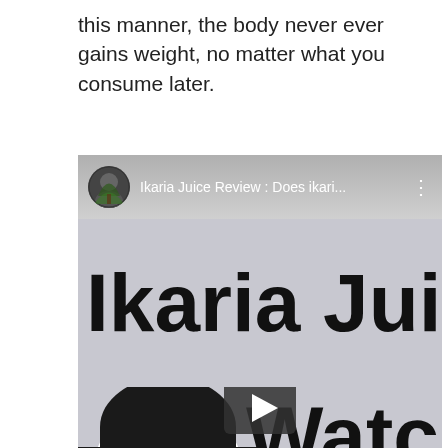this manner, the body never ever gains weight, no matter what you consume later.
[Figure (screenshot): Screenshot of a YouTube video thumbnail for 'Ikaria Juice Review: Does ikari...' showing large bold text 'Ikaria Jui' and 'Watch b' with a person's face partially visible on the left side and a play button at the bottom.]